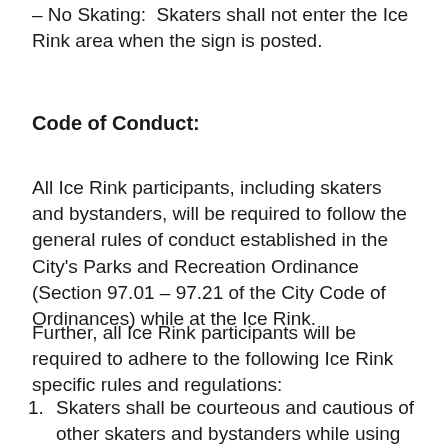– No Skating:  Skaters shall not enter the Ice Rink area when the sign is posted.
Code of Conduct:
All Ice Rink participants, including skaters and bystanders, will be required to follow the general rules of conduct established in the City's Parks and Recreation Ordinance (Section 97.01 – 97.21 of the City Code of Ordinances) while at the Ice Rink.
Further, all Ice Rink participants will be required to adhere to the following Ice Rink specific rules and regulations:
Skaters shall be courteous and cautious of other skaters and bystanders while using the skating area. Skaters shall not push, shove, or otherwise engage in raucous behavior while using the